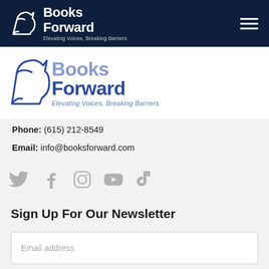[Figure (logo): Books Forward logo in white on dark navy navigation bar with tagline 'Elevating Voices, Breaking Barriers' and hamburger menu icon]
[Figure (logo): Books Forward logo in blue/navy colors, larger version, with tagline 'Elevating Voices, Breaking Barriers']
Phone: (615) 212-8549
Email: info@booksforward.com
[Figure (infographic): Five social media icons: Twitter, Facebook, Instagram, YouTube, TikTok — all in light gray]
Sign Up For Our Newsletter
Email address
SIGN UP